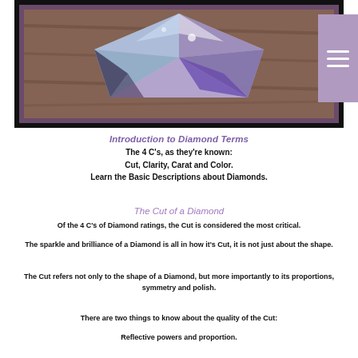[Figure (photo): A large diamond gemstone photographed from above on a wooden surface, with purple/silver reflections. Black border frame. A purple hamburger menu icon appears in the top-right corner.]
Introduction to Diamond Terms
The 4 C's, as they're known:
Cut, Clarity, Carat and Color.
Learn the Basic Descriptions about Diamonds.
The Cut of a Diamond
Of the 4 C's of Diamond ratings, the Cut is considered the most critical.
The sparkle and brilliance of a Diamond is all in how it's Cut, it is not just about the shape.
The Cut refers not only to the shape of a Diamond, but more importantly to its proportions, symmetry and polish.
There are two things to know about the quality of the Cut:
Reflective powers and proportion.